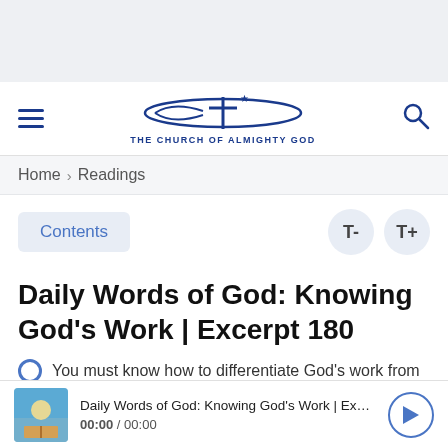[Figure (logo): The Church of Almighty God logo with cross and swoosh icon, blue color]
Home > Readings
Contents  T-  T+
Daily Words of God: Knowing God's Work | Excerpt 180
You must know how to differentiate God's work from...
Daily Words of God: Knowing God's Work | Excerpt 180  00:00 / 00:00